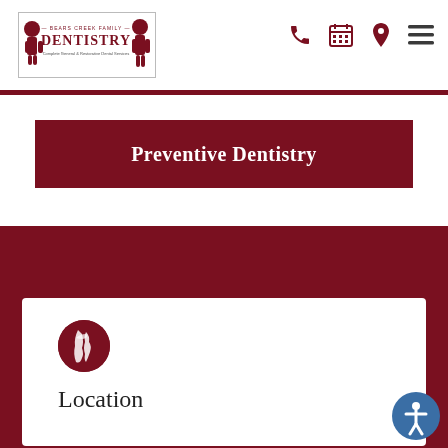[Figure (logo): Bears Creek Family Dentistry logo with cartoon dentist figures and text]
[Figure (infographic): Navigation icons: phone, calendar, location pin, hamburger menu]
[Figure (infographic): Dark red horizontal divider bar]
Preventive Dentistry
[Figure (infographic): Dark red background footer section with white card]
[Figure (illustration): Globe/world icon in dark red circle]
Location
[Figure (illustration): Accessibility icon button (person in circle)]